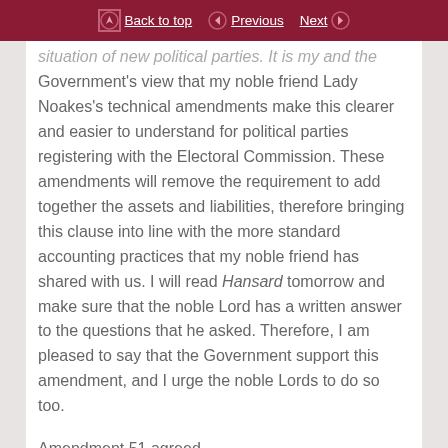Back to top | Previous | Next
situation of new political parties. It is my and the Government's view that my noble friend Lady Noakes's technical amendments make this clearer and easier to understand for political parties registering with the Electoral Commission. These amendments will remove the requirement to add together the assets and liabilities, therefore bringing this clause into line with the more standard accounting practices that my noble friend has shared with us. I will read Hansard tomorrow and make sure that the noble Lord has a written answer to the questions that he asked. Therefore, I am pleased to say that the Government support this amendment, and I urge the noble Lords to do so too.
Amendment 51 agreed.